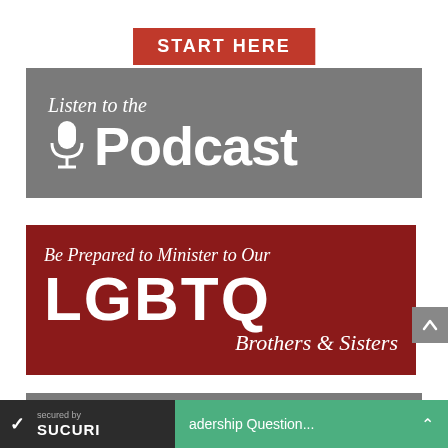START HERE
[Figure (illustration): Gray banner with microphone icon reading 'Listen to the Podcast' in white text on gray background]
[Figure (illustration): Dark red banner reading 'Be Prepared to Minister to Our LGBTQ Brothers & Sisters' in white text]
[Figure (illustration): Partial gray banner showing 'Experience' text, partially visible at bottom]
secured by SUCURI
adership Question...